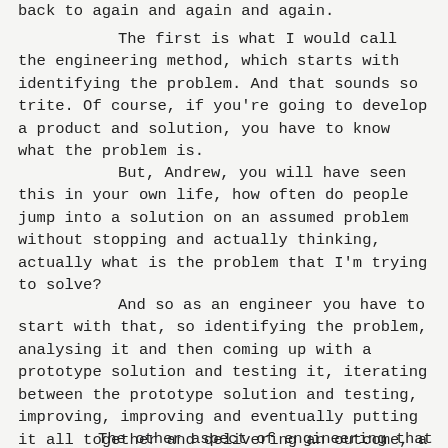back to again and again and again.
The first is what I would call the engineering method, which starts with identifying the problem. And that sounds so trite. Of course, if you're going to develop a product and solution, you have to know what the problem is.
But, Andrew, you will have seen this in your own life, how often do people jump into a solution on an assumed problem without stopping and actually thinking, actually what is the problem that I'm trying to solve?
And so as an engineer you have to start with that, so identifying the problem, analysing it and then coming up with a prototype solution and testing it, iterating between the prototype solution and testing, improving, improving and eventually putting it all together and delivering an outcome, a product. That's the engineering method.
The other aspect of engineering that I've